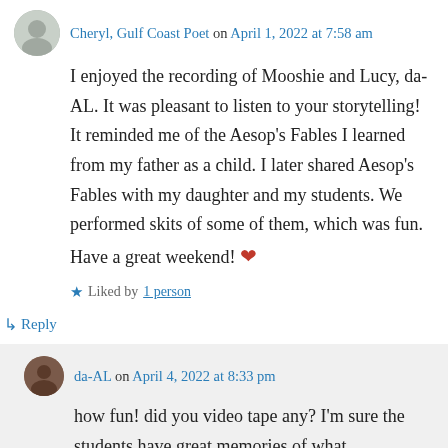Cheryl, Gulf Coast Poet on April 1, 2022 at 7:58 am
I enjoyed the recording of Mooshie and Lucy, da-AL. It was pleasant to listen to your storytelling! It reminded me of the Aesop's Fables I learned from my father as a child. I later shared Aesop's Fables with my daughter and my students. We performed skits of some of them, which was fun. Have a great weekend! ❤
★ Liked by 1 person
↳ Reply
da-AL on April 4, 2022 at 8:33 pm
how fun! did you video tape any? I'm sure the students have great memories of what